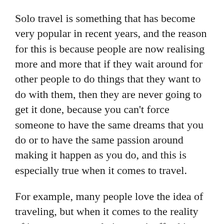Solo travel is something that has become very popular in recent years, and the reason for this is because people are now realising more and more that if they wait around for other people to do things that they want to do with them, then they are never going to get it done, because you can't force someone to have the same dreams that you do or to have the same passion around making it happen as you do, and this is especially true when it comes to travel.
For example, many people love the idea of traveling, but when it comes to the reality of it too many people just can't afford it, and not only that, they perhaps don't really have that